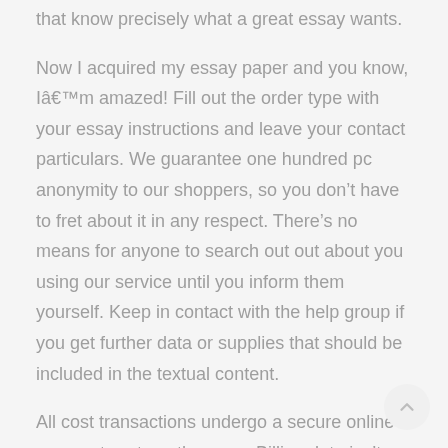that know precisely what a great essay wants.
Now I acquired my essay paper and you know, Iâ€™m amazed! Fill out the order type with your essay instructions and leave your contact particulars. We guarantee one hundred pc anonymity to our shoppers, so you don’t have to fret about it in any respect. There’s no means for anyone to search out out about you using our service until you inform them yourself. Keep in contact with the help group if you get further data or supplies that should be included in the textual content.
All cost transactions undergo a secure online payment system, thus your Billing data isn’t saved, saved or out there to the Company in any method. Additionally, we guarantee confidentiality and anonymity all all through your